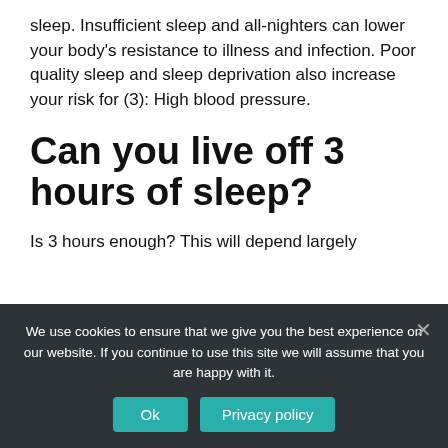sleep. Insufficient sleep and all-nighters can lower your body's resistance to illness and infection. Poor quality sleep and sleep deprivation also increase your risk for (3): High blood pressure.
Can you live off 3 hours of sleep?
Is 3 hours enough? This will depend largely
We use cookies to ensure that we give you the best experience on our website. If you continue to use this site we will assume that you are happy with it.